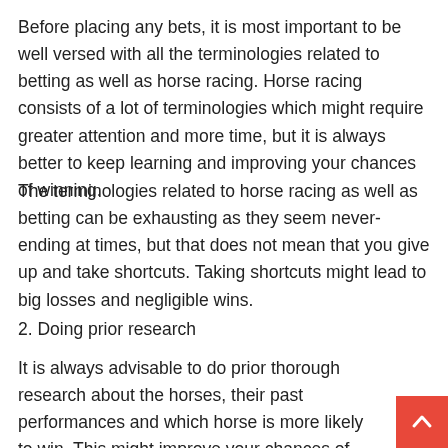Before placing any bets, it is most important to be well versed with all the terminologies related to betting as well as horse racing. Horse racing consists of a lot of terminologies which might require greater attention and more time, but it is always better to keep learning and improving your chances of winning.
The terminologies related to horse racing as well as betting can be exhausting as they seem never-ending at times, but that does not mean that you give up and take shortcuts. Taking shortcuts might lead to big losses and negligible wins.
2. Doing prior research
It is always advisable to do prior thorough research about the horses, their past performances and which horse is more likely to win. This might improve your chances of winning